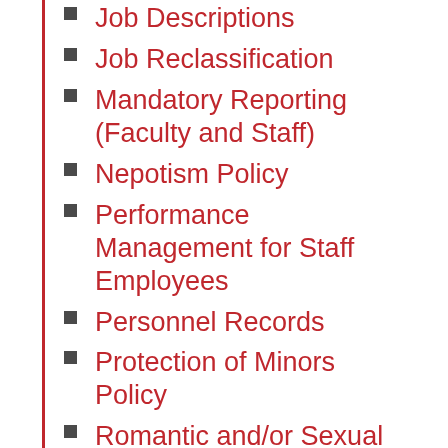Job Descriptions
Job Reclassification
Mandatory Reporting (Faculty and Staff)
Nepotism Policy
Performance Management for Staff Employees
Personnel Records
Protection of Minors Policy
Romantic and/or Sexual Relationships Between Employees
Secondary Employment